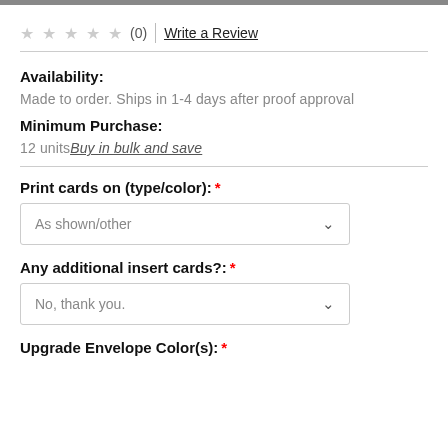★ ★ ★ ★ ★ (0) | Write a Review
Availability:
Made to order. Ships in 1-4 days after proof approval
Minimum Purchase:
12 units Buy in bulk and save
Print cards on (type/color): *
As shown/other
Any additional insert cards?: *
No, thank you.
Upgrade Envelope Color(s): *